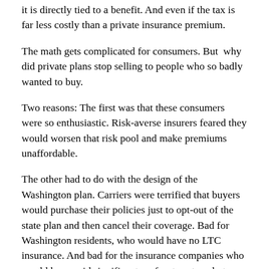it is directly tied to a benefit. And even if the tax is far less costly than a private insurance premium.
The math gets complicated for consumers. But why did private plans stop selling to people who so badly wanted to buy.
Two reasons: The first was that these consumers were so enthusiastic. Risk-averse insurers feared they would worsen that risk pool and make premiums unaffordable.
The other had to do with the design of the Washington plan. Carriers were terrified that buyers would purchase their policies just to opt-out of the state plan and then cancel their coverage. Bad for Washington residents, who would have no LTC insurance. And bad for the insurance companies who would have paid significant up-front costs only to lose decades of future premium income. The only winners: The brokers, who would earn their commissions and